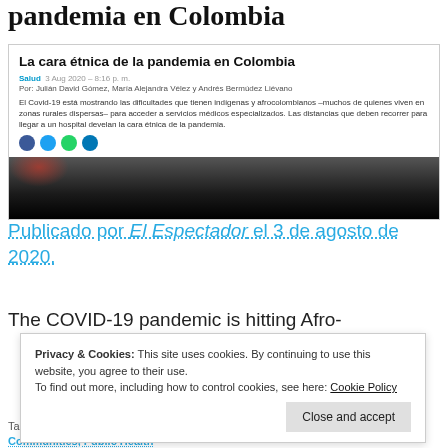pandemia en Colombia
[Figure (screenshot): Screenshot of an article titled 'La cara étnica de la pandemia en Colombia' from El Espectador, dated 3 Aug 2020 – 8:16 p.m., by Julián David Gómez, María Alejandra Vélez y Andrés Bermúdez Liévano. Includes article text, social share icons, and a dark photo.]
Publicado por El Espectador el 3 de agosto de 2020.
The COVID-19 pandemic is hitting Afro-
Privacy & Cookies: This site uses cookies. By continuing to use this website, you agree to their use.
To find out more, including how to control cookies, see here: Cookie Policy
Tags: Afro-Descendant Communities,
Communities, Public Health